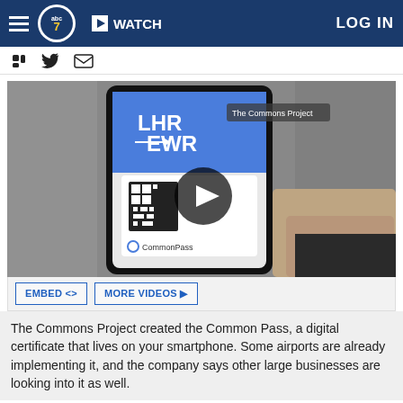WATCH | LOG IN
[Figure (screenshot): A hand holding a smartphone displaying the CommonPass app with LHR to EWR route and a QR code. A play button overlay is visible on the screen. 'The Commons Project' watermark appears in upper right.]
EMBED <> MORE VIDEOS ▶
The Commons Project created the Common Pass, a digital certificate that lives on your smartphone. Some airports are already implementing it, and the company says other large businesses are looking into it as well.